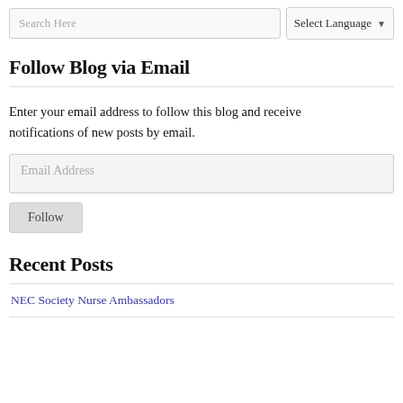Search Here | Select Language
Follow Blog via Email
Enter your email address to follow this blog and receive notifications of new posts by email.
Email Address
Follow
Recent Posts
NEC Society Nurse Ambassadors